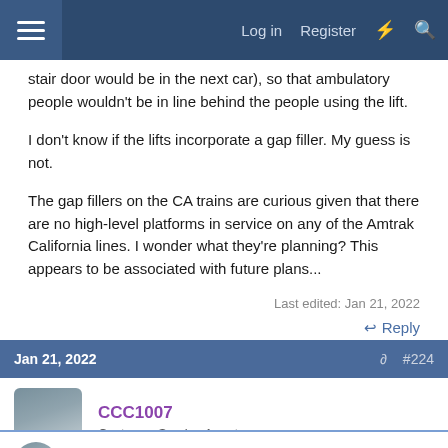Log in  Register
stair door would be in the next car), so that ambulatory people wouldn't be in line behind the people using the lift.

I don't know if the lifts incorporate a gap filler. My guess is not.

The gap fillers on the CA trains are curious given that there are no high-level platforms in service on any of the Amtrak California lines. I wonder what they're planning? This appears to be associated with future plans...
Last edited: Jan 21, 2022
Reply
Jan 21, 2022  #224
CCC1007
Customer Service Agent